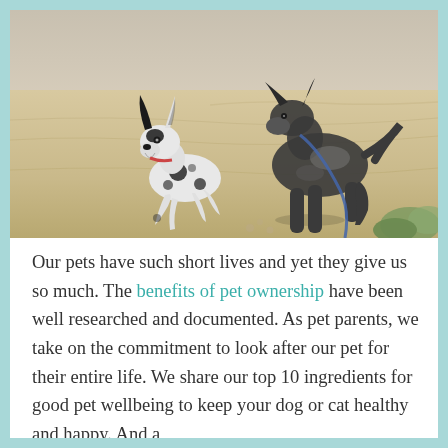[Figure (photo): Two dogs running on a sandy beach. A smaller white and black spotted dog runs beside a larger black and grey merle dog on a leash.]
Our pets have such short lives and yet they give us so much.  The benefits of pet ownership have been well researched and documented. As pet parents, we take on the commitment to look after our pet for their entire life.  We share our top 10 ingredients for good pet wellbeing to keep your dog or cat healthy and happy.  And a